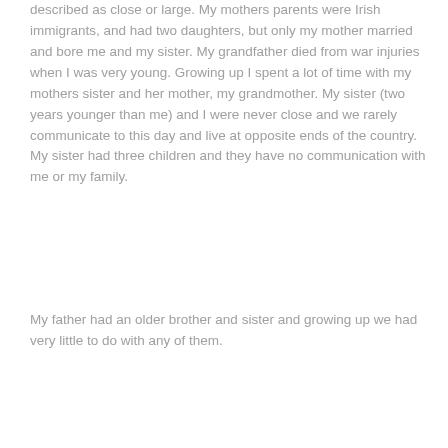described as close or large. My mothers parents were Irish immigrants, and had two daughters, but only my mother married and bore me and my sister. My grandfather died from war injuries when I was very young. Growing up I spent a lot of time with my mothers sister and her mother, my grandmother. My sister (two years younger than me) and I were never close and we rarely communicate to this day and live at opposite ends of the country. My sister had three children and they have no communication with me or my family.
My father had an older brother and sister and growing up we had very little to do with any of them.